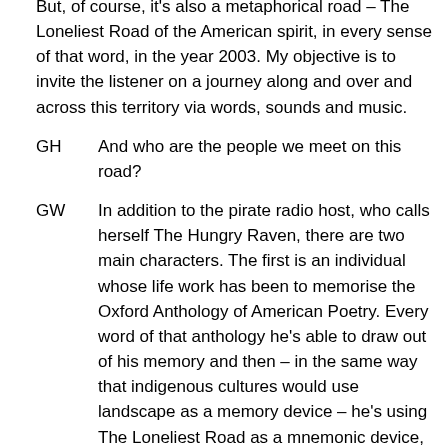But, of course, it's also a metaphorical road – The Loneliest Road of the American spirit, in every sense of that word, in the year 2003. My objective is to invite the listener on a journey along and over and across this territory via words, sounds and music.
GH      And who are the people we meet on this road?
GW      In addition to the pirate radio host, who calls herself The Hungry Raven, there are two main characters. The first is an individual whose life work has been to memorise the Oxford Anthology of American Poetry. Every word of that anthology he's able to draw out of his memory and then – in the same way that indigenous cultures would use landscape as a memory device – he's using The Loneliest Road as a mnemonic device, with mile signs along the road triggering off each poem. So he drives the road back and forth, back and forth, back and forth three rounds trips